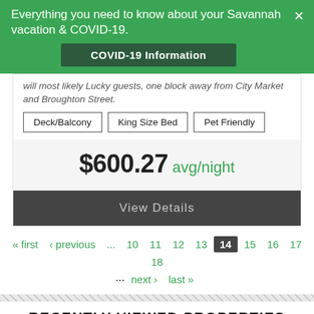Everything you need to know about your Savannah vacation & COVID-19.
COVID-19 Information
will most likely Lucky guests, one block away from City Market and Broughton Street.
Deck/Balcony
King Size Bed
Pet Friendly
$600.27 avg/night
View Details
« first ‹ previous ... 10 11 12 13 14 15 16 17 18 ... next › last »
RECENTLY VIEWED PROPERTIES
THE MONTY
SOUTHERN CHARM